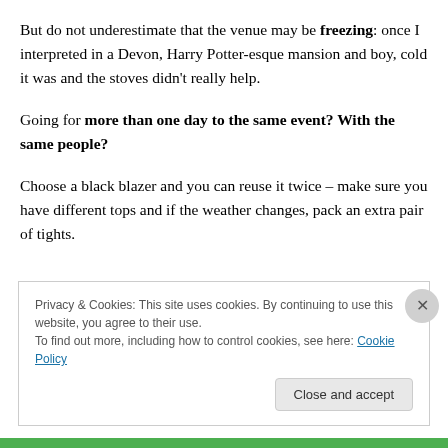But do not underestimate that the venue may be freezing: once I interpreted in a Devon, Harry Potter-esque mansion and boy, cold it was and the stoves didn't really help.
Going for more than one day to the same event? With the same people?
Choose a black blazer and you can reuse it twice – make sure you have different tops and if the weather changes, pack an extra pair of tights.
Privacy & Cookies: This site uses cookies. By continuing to use this website, you agree to their use. To find out more, including how to control cookies, see here: Cookie Policy